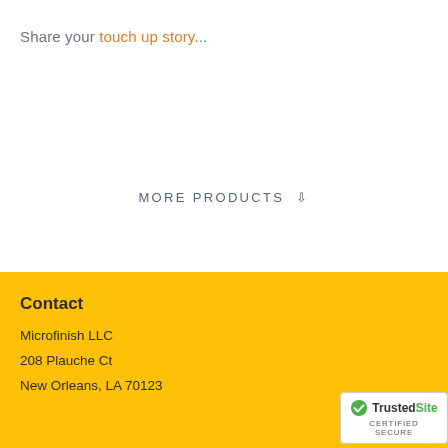Share your touch up story...
MORE PRODUCTS ⇩
Contact
Microfinish LLC
208 Plauche Ct
New Orleans, LA 70123
[Figure (logo): TrustedSite CERTIFIED SECURE badge with green checkmark]